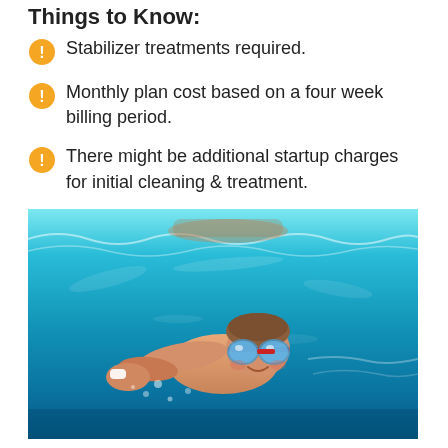Things to Know:
Stabilizer treatments required.
Monthly plan cost based on a four week billing period.
There might be additional startup charges for initial cleaning & treatment.
[Figure (photo): Underwater photo of a child swimming in a pool, wearing blue and red goggles, smiling at camera, with blue water and light reflections visible]